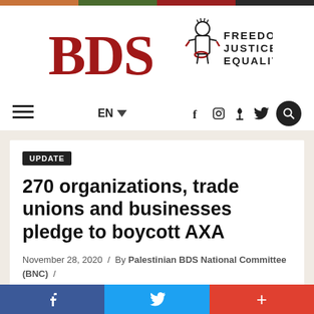[Figure (logo): BDS Movement logo with stylized figure and text FREEDOM JUSTICE EQUALITY]
EN | Social media icons (Facebook, Instagram, RSS, Twitter) | Search button | Hamburger menu
UPDATE
270 organizations, trade unions and businesses pledge to boycott AXA
November 28, 2020 / By Palestinian BDS National Committee (BNC) /